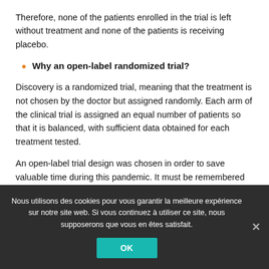Therefore, none of the patients enrolled in the trial is left without treatment and none of the patients is receiving placebo.
Why an open-label randomized trial?
Discovery is a randomized trial, meaning that the treatment is not chosen by the doctor but assigned randomly. Each arm of the clinical trial is assigned an equal number of patients so that it is balanced, with sufficient data obtained for each treatment tested.
An open-label trial design was chosen in order to save valuable time during this pandemic. It must be remembered that the molecules tested are not all available in the same dosage forms. For a double-blind trial to be possible, it would take a long time to…
Nous utilisons des cookies pour vous garantir la meilleure expérience sur notre site web. Si vous continuez à utiliser ce site, nous supposerons que vous en êtes satisfait.